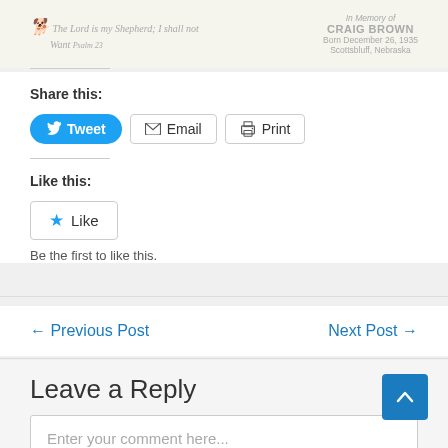[Figure (other): Faded memorial card header showing shepherd icon with italic text 'The Lord is my Shepherd; I shall not Want' on left, and 'In Memory of CRAIG BROWN Born December 26, 1935 Scottsbluff, Nebraska' on right]
Share this:
Tweet  Email  Print
Like this:
Like
Be the first to like this.
← Previous Post
Next Post →
Leave a Reply
Enter your comment here...